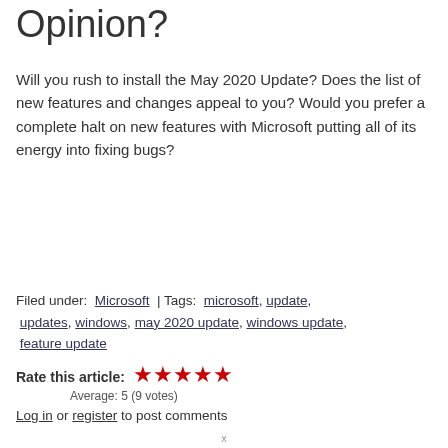Opinion?
Will you rush to install the May 2020 Update? Does the list of new features and changes appeal to you? Would you prefer a complete halt on new features with Microsoft putting all of its energy into fixing bugs?
Filed under: Microsoft | Tags: microsoft, update, updates, windows, may 2020 update, windows update, feature update
Rate this article: ★★★★★ Average: 5 (9 votes)
Log in or register to post comments
x